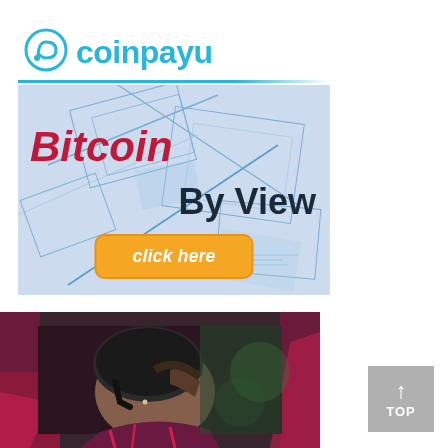[Figure (infographic): CoinPayU advertisement banner with logo showing a stylized wave/coin icon and 'coinpayu' text in cyan, a cyan horizontal line, a blueprint-patterned background with 'Bitcoin' in bold red italic and 'By View' in dark navy bold, and an orange 'click here' button.]
[Figure (photo): Close-up photo of a woman wearing a cycling helmet and colorful pink/burgundy cycling jersey, looking downward, with a blurred green nature background.]
[Figure (infographic): Grey 'TOP' scroll-to-top button with upward arrow icon in the bottom right corner.]